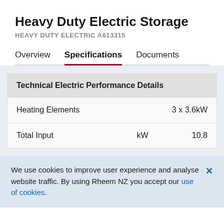Heavy Duty Electric Storage
HEAVY DUTY ELECTRIC A613315
Overview   Specifications   Documents
|  |  |  |
| --- | --- | --- |
| Heating Elements |  | 3 x 3.6kW |
| Total Input | kW | 10.8 |
We use cookies to improve user experience and analyse website traffic. By using Rheem NZ you accept our use of cookies.